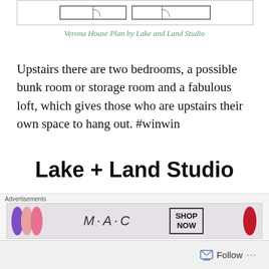[Figure (schematic): Partial floor plan schematic for Verona House Plan showing a room layout with rectangular outlines]
Verona House Plan by Lake and Land Studio
Upstairs there are two bedrooms, a possible bunk room or storage room and a fabulous loft, which gives those who are upstairs their own space to hang out. #winwin
Lake + Land Studio
Website  |  Facebook  |  Instagram  |
Detailed INFO!
[Figure (photo): M·A·C cosmetics advertisement showing lipsticks in various shades with SHOP NOW button]
Follow ...